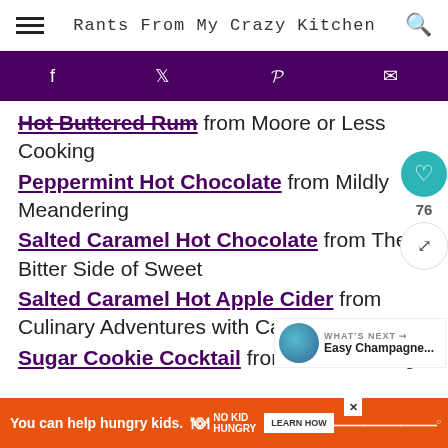Rants From My Crazy Kitchen
[Figure (infographic): Social sharing bar with dark purple background showing Facebook (f), Twitter (bird), Pinterest (p), and email (envelope) icons in white]
Hot Buttered Rum from Moore or Less Cooking
Peppermint Hot Chocolate from Mildly Meandering
Salted Caramel Hot Chocolate from The Bitter Side of Sweet
Salted Caramel Hot Apple Cider from Culinary Adventures with Camilla
Sugar Cookie Cocktail from Cookie Dough and
[Figure (infographic): What's Next widget showing thumbnail image and text 'Easy Champagne...']
[Figure (infographic): Advertisement bar: orange background with 'You can help hungry kids. No Kid Hungry LEARN HOW']